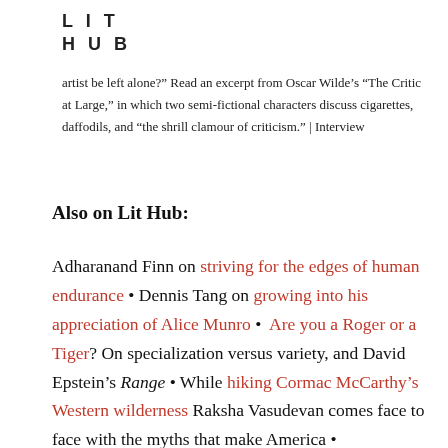LIT
HUB
artist be left alone?" Read an excerpt from Oscar Wilde's "The Critic at Large," in which two semi-fictional characters discuss cigarettes, daffodils, and "the shrill clamour of criticism." | Interview
Also on Lit Hub:
Adharanand Finn on striving for the edges of human endurance • Dennis Tang on growing into his appreciation of Alice Munro • Are you a Roger or a Tiger? On specialization versus variety, and David Epstein's Range • While hiking Cormac McCarthy's Western wilderness Raksha Vasudevan comes face to face with the myths that make America • Gabrielle Bellot on the dreamy greenness...